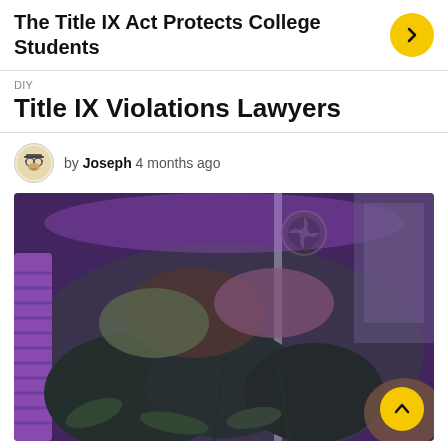The Title IX Act Protects College Students
DIY
Title IX Violations Lawyers
by Joseph 4 months ago
[Figure (photo): Indoor grow tent with plants under purple LED lighting, fan visible in background, mylar walls]